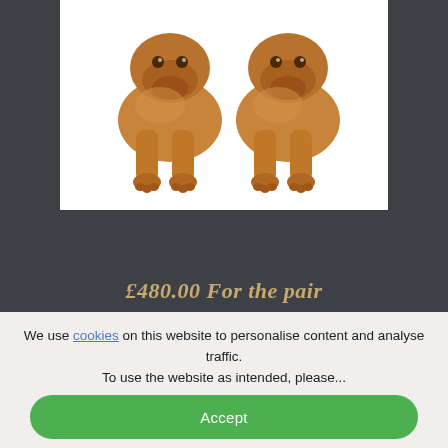[Figure (photo): Two golden/bronze colored dog figurines (bulldogs) photographed against a white background, shown from a front angle displaying their paws and lower bodies.]
£480.00 For the pair
We use cookies on this website to personalise content and analyse traffic. To use the website as intended, please...
Accept